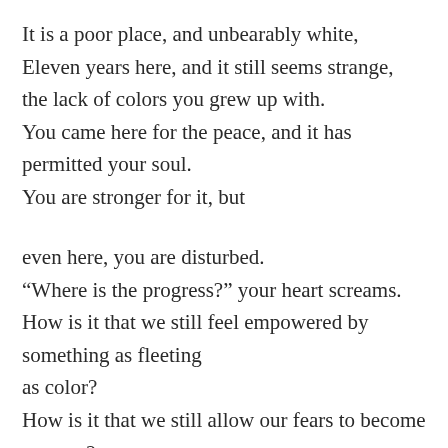It is a poor place, and unbearably white,
Eleven years here, and it still seems strange,
the lack of colors you grew up with.
You came here for the peace, and it has
permitted your soul.
You are stronger for it, but

even here, you are disturbed.
“Where is the progress?” your heart screams.
How is it that we still feel empowered by
something as fleeting
as color?
How is it that we still allow our fears to become
tyranny?